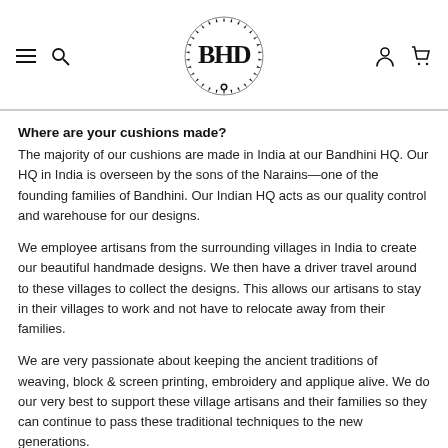Bandhini Home - navigation header with logo
Where are your cushions made?
The majority of our cushions are made in India at our Bandhini HQ. Our HQ in India is overseen by the sons of the Narains—one of the founding families of Bandhini. Our Indian HQ acts as our quality control and warehouse for our designs.
We employee artisans from the surrounding villages in India to create our beautiful handmade designs. We then have a driver travel around to these villages to collect the designs. This allows our artisans to stay in their villages to work and not have to relocate away from their families.
We are very passionate about keeping the ancient traditions of weaving, block & screen printing, embroidery and applique alive. We do our very best to support these village artisans and their families so they can continue to pass these traditional techniques to the new generations.